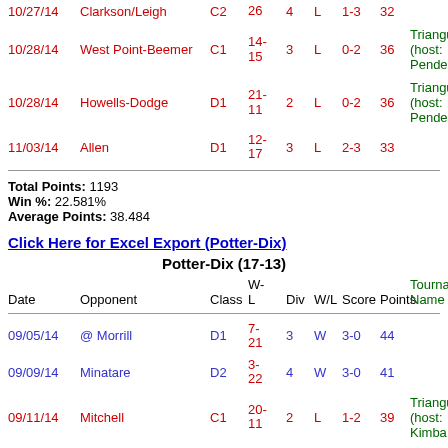| Date | Opponent | Class | W-L | Div | W/L | Score | Points | Tournament Name |
| --- | --- | --- | --- | --- | --- | --- | --- | --- |
| 10/27/14 | Clarkson/Leigh | C2 | 26 | 4 | L | 1-3 | 32 |  |
| 10/28/14 | West Point-Beemer | C1 | 14-15 | 3 | L | 0-2 | 36 | Triangular (host: Pender) |
| 10/28/14 | Howells-Dodge | D1 | 21-11 | 2 | L | 0-2 | 36 | Triangular (host: Pender) |
| 11/03/14 | Allen | D1 | 12-17 | 3 | L | 2-3 | 33 |  |
Total Points: 1193
Win %: 22.581%
Average Points: 38.484
Click Here for Excel Export (Potter-Dix)
| Date | Opponent | Class | W-L | Div | W/L | Score | Points | Tournament Name |
| --- | --- | --- | --- | --- | --- | --- | --- | --- |
| 09/05/14 | @ Morrill | D1 | 7-21 | 3 | W | 3-0 | 44 |  |
| 09/09/14 | Minatare | D2 | 3-22 | 4 | W | 3-0 | 41 |  |
| 09/11/14 | Mitchell | C1 | 20-11 | 2 | L | 1-2 | 39 | Triangular (host: Kimba |
| 09/11/14 | Kimball | C2 | 15-14 | 2 | W | 2-1 | 49 | Triangular (host: Kimba |
| 09/12/14 | @ Caliche, CO | D1 | 19-7 | 2 | L | 0-3 | 36 |  |